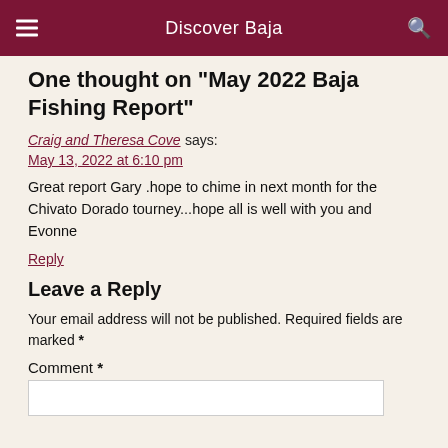Discover Baja
One thought on “May 2022 Baja Fishing Report”
Craig and Theresa Cove says:
May 13, 2022 at 6:10 pm
Great report Gary .hope to chime in next month for the Chivato Dorado tourney...hope all is well with you and Evonne
Reply
Leave a Reply
Your email address will not be published. Required fields are marked *
Comment *